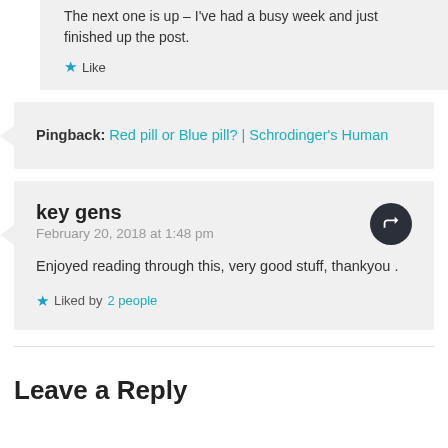The next one is up – I've had a busy week and just finished up the post.
Like
Pingback: Red pill or Blue pill? | Schrodinger's Human
key gens
February 20, 2018 at 1:48 pm
Enjoyed reading through this, very good stuff, thankyou .
Liked by 2 people
Leave a Reply